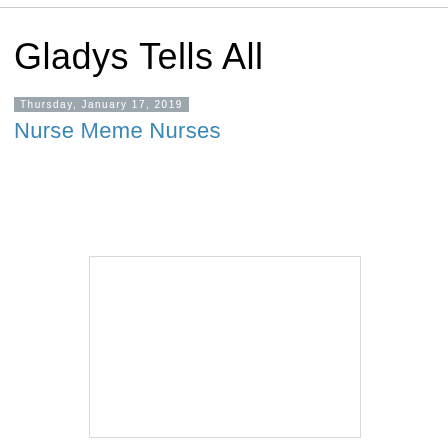Gladys Tells All
Thursday, January 17, 2019
Nurse Meme Nurses
[Figure (photo): A white/blank image placeholder rectangle with light grey border]